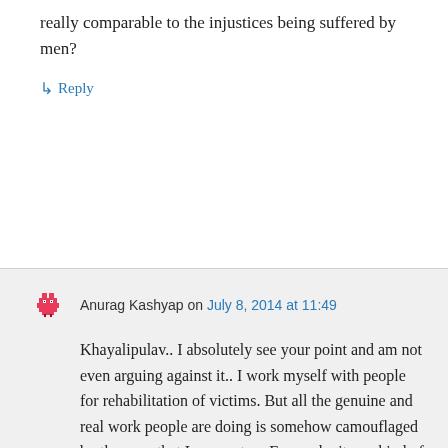really comparable to the injustices being suffered by men?
↳ Reply
Anurag Kashyap on July 8, 2014 at 11:49
Khayalipulav.. I absolutely see your point and am not even arguing against it.. I work myself with people for rehabilitation of victims. But all the genuine and real work people are doing is somehow camouflaged by the ones that I encounter . For me be it any kind of violation, or treatment of people is the same..I will not separate it as against man or woman.. Children suffer the most in